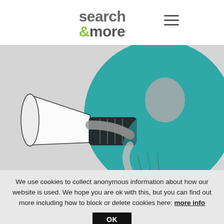search&more [logo] ≡ [hamburger menu]
[Figure (illustration): Woman shouting into a megaphone against a teal circle background on a grey background, black and white photo with teal color overlay on the background circle]
We use cookies to collect anonymous information about how our website is used. We hope you are ok with this, but you can find out more including how to block or delete cookies here: more info